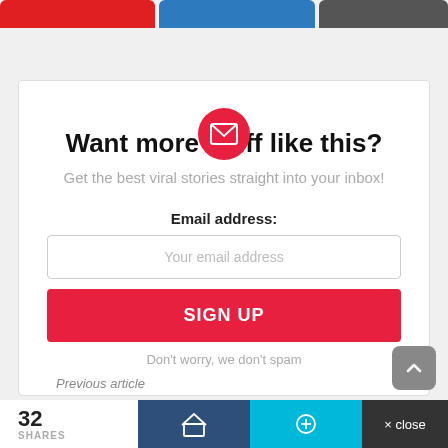[Figure (screenshot): Top social share buttons: red, blue, dark gray]
Want more stuff like this?
Get the best viral stories straight into your inbox!
Email address:
Your email address
SIGN UP
Don't worry, we don't spam
Previous article
32 SHARES
× close